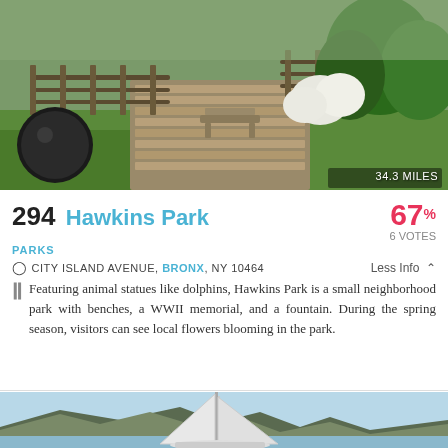[Figure (photo): Outdoor park scene with benches, black decorative lamp post, wooden walkway/boardwalk, green trees and white flowering bushes. Distance badge reads 34.3 MILES.]
294 Hawkins Park
67% 6 VOTES
PARKS
CITY ISLAND AVENUE, BRONX, NY 10464   Less Info ^
Featuring animal statues like dolphins, Hawkins Park is a small neighborhood park with benches, a WWII memorial, and a fountain. During the spring season, visitors can see local flowers blooming in the park.
[Figure (photo): Sailing boat with tall white sails on water, with mountain/cliff backdrop and light blue sky.]